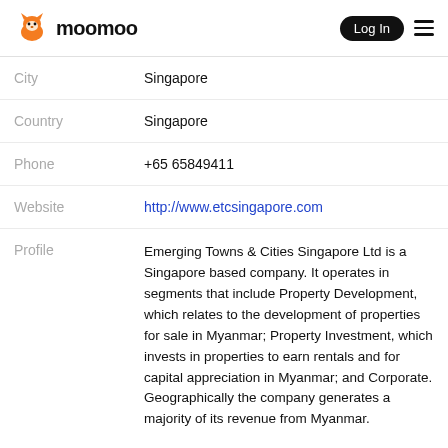moomoo | Log In
| Field | Value |
| --- | --- |
| City | Singapore |
| Country | Singapore |
| Phone | +65 65849411 |
| Website | http://www.etcsingapore.com |
| Profile | Emerging Towns & Cities Singapore Ltd is a Singapore based company. It operates in segments that include Property Development, which relates to the development of properties for sale in Myanmar; Property Investment, which invests in properties to earn rentals and for capital appreciation in Myanmar; and Corporate. Geographically the company generates a majority of its revenue from Myanmar. |